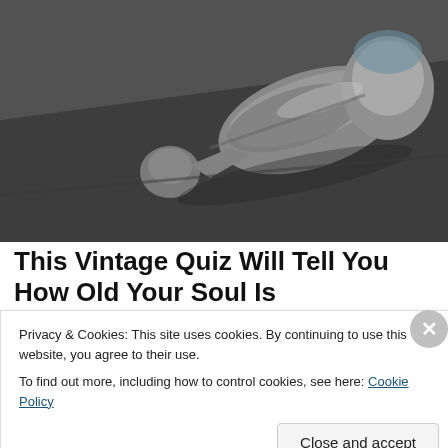[Figure (photo): Close-up photograph of a grey plastic car door handle / interior window crank handle against a dark grey door panel interior.]
This Vintage Quiz Will Tell You How Old Your Soul Is
Privacy & Cookies: This site uses cookies. By continuing to use this website, you agree to their use.
To find out more, including how to control cookies, see here: Cookie Policy